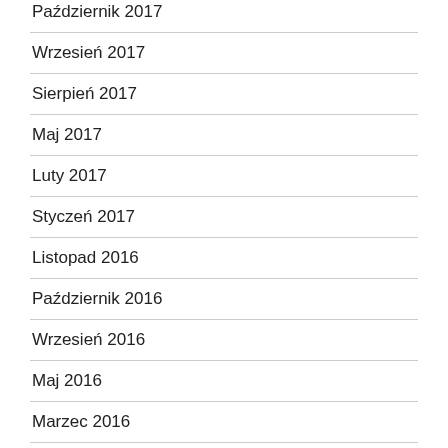Październik 2017
Wrzesień 2017
Sierpień 2017
Maj 2017
Luty 2017
Styczeń 2017
Listopad 2016
Październik 2016
Wrzesień 2016
Maj 2016
Marzec 2016
Luty 2016